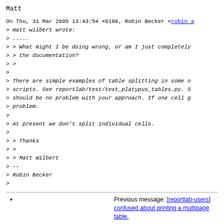Matt
On Thu, 31 Mar 2005 13:43:54 +0100, Robin Becker <robin a
> matt wilbert wrote:
> .....
> > What might I be doing wrong, or am I just completely
> > the documentation?
> >
>
> There are simple examples of table splitting in some o
> scripts. See reportlab/test/test_platypus_tables.py. S
> should be no problem with your approach. If one cell g
> problem.
>
> At present we don't split individual cells.
>
> > Thanks
> >
> > Matt Wilbert
> --
> Robin Becker
>
Previous message: [reportlab-users] confused about printing a multipage table.
Next message: [reportlab-used] confused about printing a